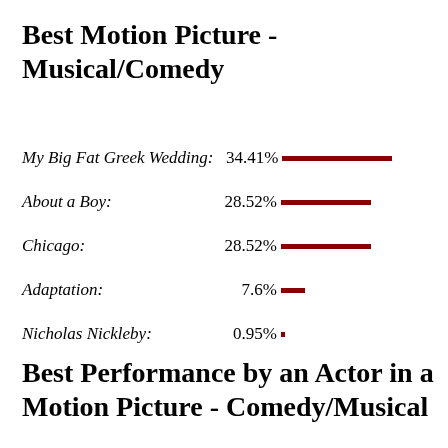Best Motion Picture - Musical/Comedy
[Figure (bar-chart): Best Motion Picture - Musical/Comedy]
Best Performance by an Actor in a Motion Picture - Comedy/Musical